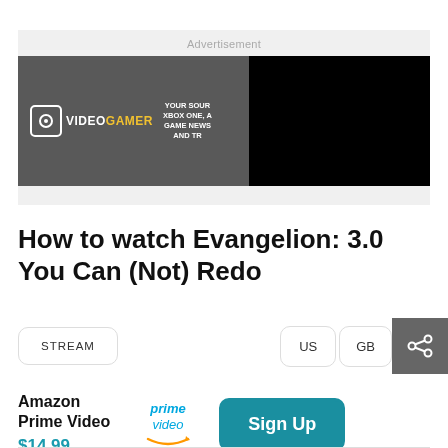[Figure (screenshot): Advertisement banner showing VideoGamer logo on grey background with black rectangle overlay on right side]
How to watch Evangelion: 3.0 You Can (Not) Redo
STREAM | US | GB
Amazon Prime Video $14.99
Sign Up